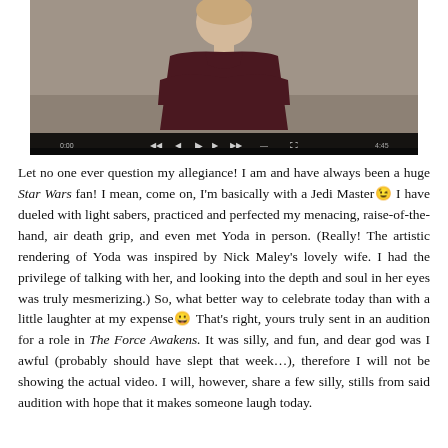[Figure (screenshot): Video screenshot of a woman in a dark maroon top with arms crossed, sitting against a grey background. Video player controls visible at bottom of frame.]
Let no one ever question my allegiance! I am and have always been a huge Star Wars fan! I mean, come on, I'm basically with a Jedi Master😉 I have dueled with light sabers, practiced and perfected my menacing, raise-of-the-hand, air death grip, and even met Yoda in person. (Really! The artistic rendering of Yoda was inspired by Nick Maley's lovely wife. I had the privilege of talking with her, and looking into the depth and soul in her eyes was truly mesmerizing.) So, what better way to celebrate today than with a little laughter at my expense😀 That's right, yours truly sent in an audition for a role in The Force Awakens. It was silly, and fun, and dear god was I awful (probably should have slept that week…), therefore I will not be showing the actual video. I will, however, share a few silly, stills from said audition with hope that it makes someone laugh today.